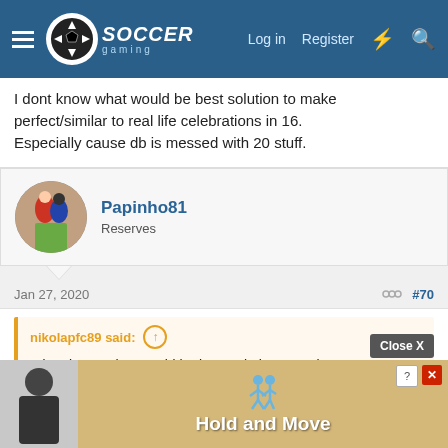Soccer Gaming — Log in | Register
I dont know what would be best solution to make perfect/similar to real life celebrations in 16.
Especially cause db is messed with 20 stuff.
Papinho81
Reserves
Jan 27, 2020  #70
nikolapfc89 said:
I dont know what would be best solution to make perfect/similar to real life celebrations in 16.
Especially cause db is messed with 20 stuff.
Yeah, I am not sure how to proceed for that one either.
[Figure (screenshot): Advertisement banner at the bottom with 'Hold and Move' text and stick figures, with Close X button overlay]
Close X